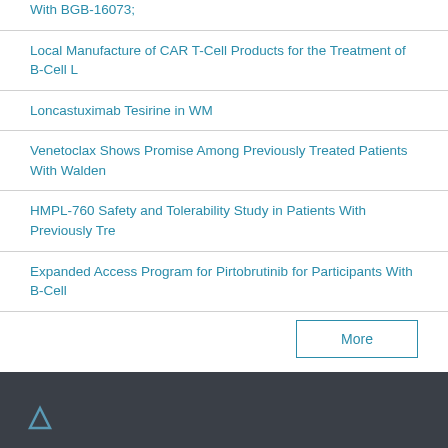With BGB-16073;
Local Manufacture of CAR T-Cell Products for the Treatment of B-Cell L
Loncastuximab Tesirine in WM
Venetoclax Shows Promise Among Previously Treated Patients With Walden
HMPL-760 Safety and Tolerability Study in Patients With Previously Tre
Expanded Access Program for Pirtobrutinib for Participants With B-Cell